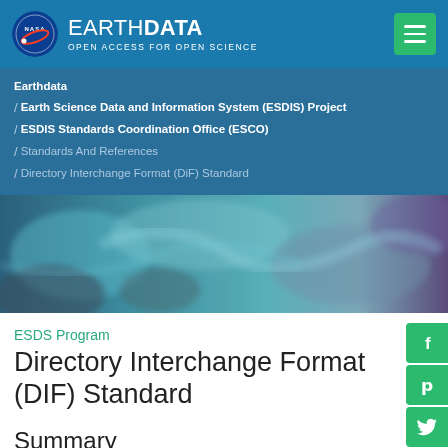EARTH DATA — OPEN ACCESS FOR OPEN SCIENCE
Earthdata
/ Earth Science Data and Information System (ESDIS) Project
/ ESDIS Standards Coordination Office (ESCO)
/ Standards And References
/ Directory Interchange Format (DIF) Standard
[Figure (photo): Satellite view of Earth surface with ocean and land]
ESDS Program
Directory Interchange Format (DIF) Standard
Summary